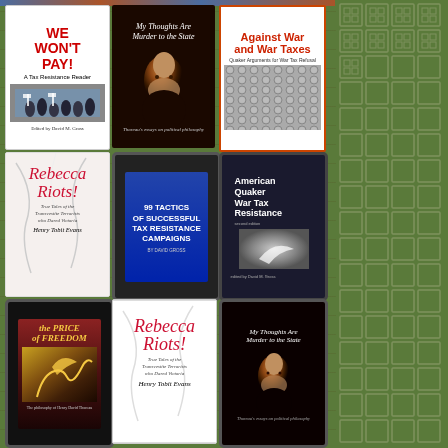[Figure (other): Grid of 9 book covers related to tax resistance, displayed against a green decorative tile background. Books include: 'We Won't Pay! A Tax Resistance Reader' (edited by David M. Gross), 'My Thoughts Are Murder to the State' (Thoreau's essays on political philosophy), 'Against War and War Taxes: Quaker Arguments for War Tax Refusal', 'Rebecca Riots! True Tales of the Transvestite Terrorists who Dared Victoria' by Henry Tobit Evans, '99 Tactics of Successful Tax Resistance Campaigns' by David Gross, 'American Quaker War Tax Resistance' (second edition, edited by David M. Gross), 'The Price of Freedom' (the philosophy of Henry David Thoreau), 'Rebecca Riots! True Tales of the Transvestite Terrorists who Dared Victoria' by Henry Tobit Evans (paperback version), 'My Thoughts Are Murder to the State' (Thoreau's essays on political philosophy, ebook version).]